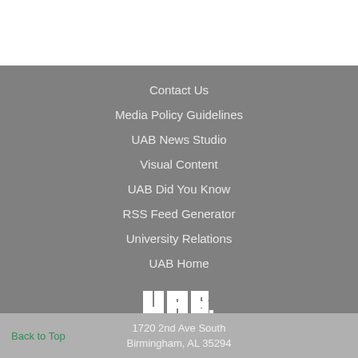Contact Us
Media Policy Guidelines
UAB News Studio
Visual Content
UAB Did You Know
RSS Feed Generator
University Relations
UAB Home
[Figure (logo): UAB logo — white block letters on gray background]
The University of Alabama at Birmingham
Back to Top
1720 2nd Ave South
Birmingham, AL 35294